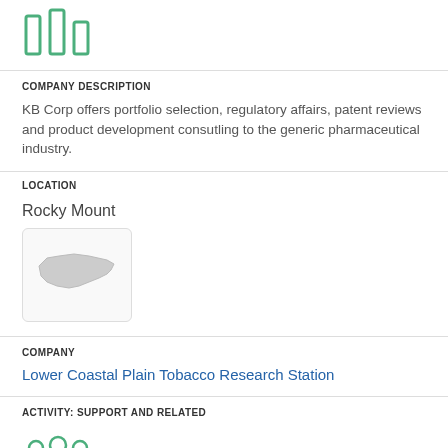[Figure (illustration): Green icon of three vertical bar chart columns]
COMPANY DESCRIPTION
KB Corp offers portfolio selection, regulatory affairs, patent reviews and product development consutling to the generic pharmaceutical industry.
LOCATION
Rocky Mount
[Figure (map): Small map thumbnail showing North Carolina state outline in light gray on white background, inside a rounded rectangle border]
COMPANY
Lower Coastal Plain Tobacco Research Station
ACTIVITY: SUPPORT AND RELATED
[Figure (illustration): Green icon of three people/users group]